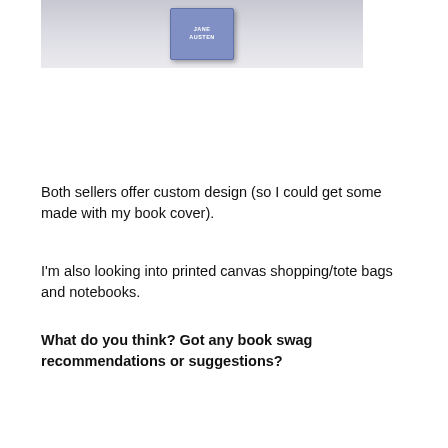[Figure (photo): A small matchbox or tin with a blue label reading 'JANE AUSTEN' on a light gray/white background]
Both sellers offer custom design (so I could get some made with my book cover).
I'm also looking into printed canvas shopping/tote bags and notebooks.
What do you think? Got any book swag recommendations or suggestions?